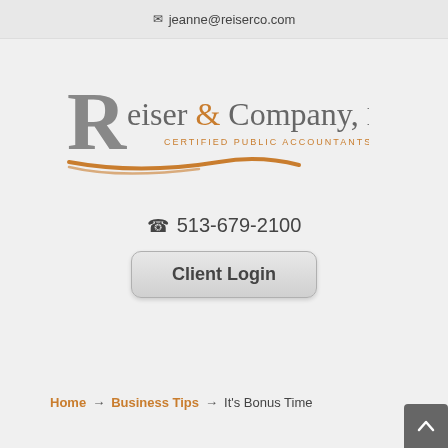✉ jeanne@reiserco.com
[Figure (logo): Reiser & Company, LLC - Certified Public Accountants logo with stylized R and orange swash underline]
📞 513-679-2100
Client Login
Home → Business Tips → It's Bonus Time